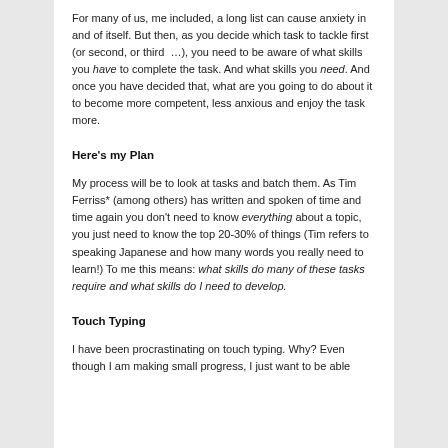For many of us, me included, a long list can cause anxiety in and of itself. But then, as you decide which task to tackle first (or second, or third …), you need to be aware of what skills you have to complete the task. And what skills you need. And once you have decided that, what are you going to do about it to become more competent, less anxious and enjoy the task more.
Here's my Plan
My process will be to look at tasks and batch them. As Tim Ferriss* (among others) has written and spoken of time and time again you don't need to know everything about a topic, you just need to know the top 20-30% of things (Tim refers to speaking Japanese and how many words you really need to learn!) To me this means: what skills do many of these tasks require and what skills do I need to develop.
Touch Typing
I have been procrastinating on touch typing. Why? Even though I am making small progress, I just want to be able